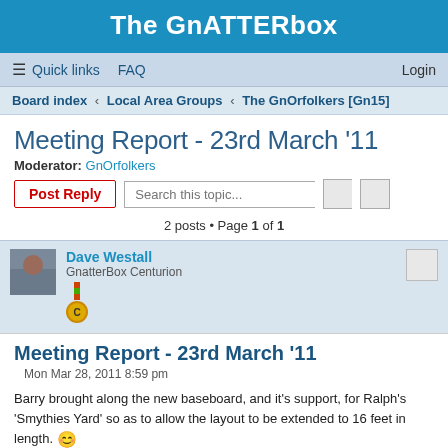The GnATTERbox
Quick links   FAQ   Login
Board index › Local Area Groups › The GnOrfolkers [Gn15]
Meeting Report - 23rd March '11
Moderator: GnOrfolkers
Post Reply   Search this topic...
2 posts • Page 1 of 1
Dave Westall
GnatterBox Centurion
Meeting Report - 23rd March '11
Mon Mar 28, 2011 8:59 pm
Barry brought along the new baseboard, and it's support, for Ralph's 'Smythies Yard' so as to allow the layout to be extended to 16 feet in length. :)
After a discussion it was decided to make the cliff face at the RH end of the present 12ft layout redundant rather than move it to the end of the new 4th board.